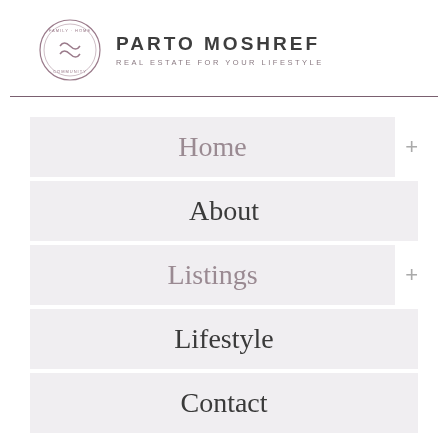[Figure (logo): Parto Moshref real estate logo with circular emblem and brand name]
Home +
About
Listings +
Lifestyle
Contact
604.506.8668
partomoshref@gmail.com